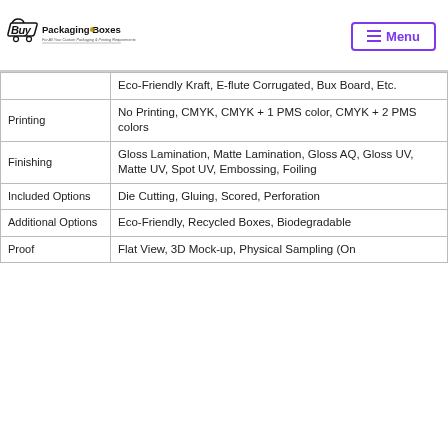[Figure (logo): Buy Packaging Boxes logo with cart icon and tagline 'For All Your Custom Packaging & Printing Requirements']
|  | Eco-Friendly Kraft, E-flute Corrugated, Bux Board, Etc. |
| Printing | No Printing, CMYK, CMYK + 1 PMS color, CMYK + 2 PMS colors |
| Finishing | Gloss Lamination, Matte Lamination, Gloss AQ, Gloss UV, Matte UV, Spot UV, Embossing, Foiling |
| Included Options | Die Cutting, Gluing, Scored, Perforation |
| Additional Options | Eco-Friendly, Recycled Boxes, Biodegradable |
| Proof | Flat View, 3D Mock-up, Physical Sampling (On |